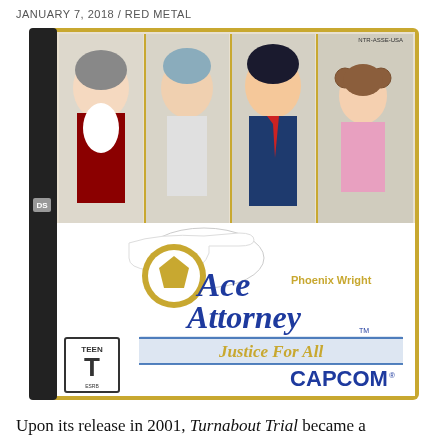JANUARY 7, 2018 / RED METAL
[Figure (photo): Nintendo DS game box for Phoenix Wright: Ace Attorney - Justice For All by Capcom. Cover shows four anime characters, a pointing hand silhouette, the game logo, TEEN ESRB rating, and Capcom logo.]
Upon its release in 2001, Turnabout Trial became a